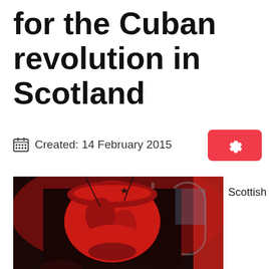for the Cuban revolution in Scotland
Created: 14 February 2015
[Figure (photo): Indoor event photo showing a large red and black Che Guevara flag/banner displayed prominently, with red lighting illuminating the scene and people partially visible in the foreground]
Scottish